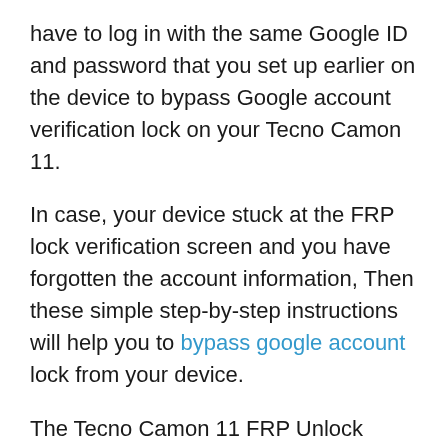have to log in with the same Google ID and password that you set up earlier on the device to bypass Google account verification lock on your Tecno Camon 11.
In case, your device stuck at the FRP lock verification screen and you have forgotten the account information, Then these simple step-by-step instructions will help you to bypass google account lock from your device.
The Tecno Camon 11 FRP Unlock process has become very challenging, Also you can use